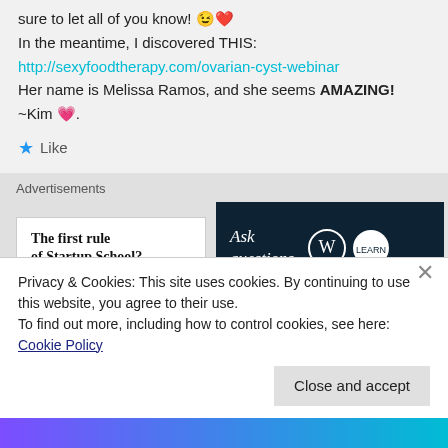sure to let all of you know! 😉❤️
In the meantime, I discovered THIS:
http://sexyfoodtherapy.com/ovarian-cyst-webinar
Her name is Melissa Ramos, and she seems AMAZING!
~Kim 💗.
★ Like
Advertisements
[Figure (screenshot): Advertisement: 'The first rule of Startup School?' on left, and 'Ask questions.' with WordPress and other logos on dark background on right.]
Endo Unlocked
April 26, 2018 · 1:00
Privacy & Cookies: This site uses cookies. By continuing to use this website, you agree to their use.
To find out more, including how to control cookies, see here: Cookie Policy
Close and accept